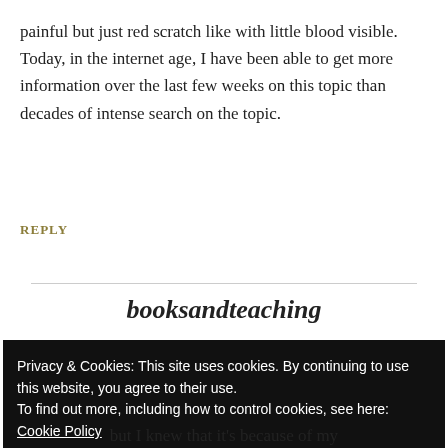painful but just red scratch like with little blood visible. Today, in the internet age, I have been able to get more information over the last few weeks on this topic than decades of intense search on the topic.
REPLY
booksandteaching
Privacy & Cookies: This site uses cookies. By continuing to use this website, you agree to their use.
To find out more, including how to control cookies, see here: Cookie Policy
Close and accept
but I knew that it's because of my